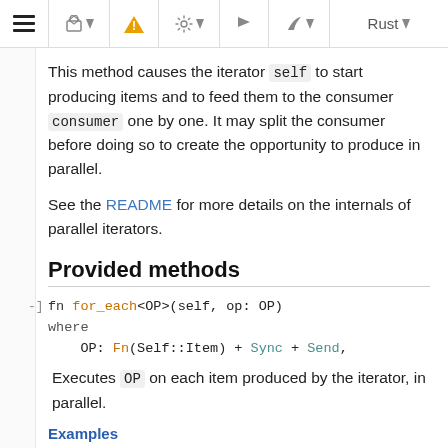Toolbar with icons and Rust label
This method causes the iterator self to start producing items and to feed them to the consumer consumer one by one. It may split the consumer before doing so to create the opportunity to produce in parallel.
See the README for more details on the internals of parallel iterators.
Provided methods
fn for_each<OP>(self, op: OP)
where
    OP: Fn(Self::Item) + Sync + Send,
Executes OP on each item produced by the iterator, in parallel.
Examples